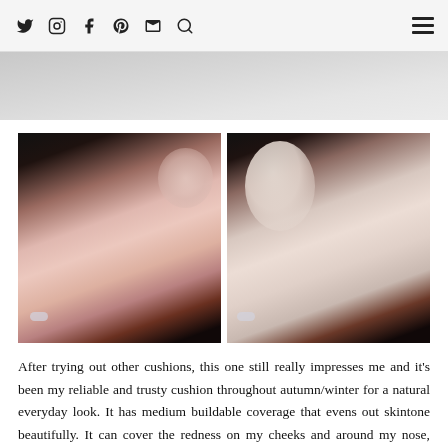Social icons: Twitter, Instagram, Facebook, Pinterest, Email, Search; Hamburger menu
[Figure (photo): Partial top image strip showing a blurred/cropped background photo, light grey tones]
[Figure (photo): Two side-by-side before/after close-up photos of a woman's cheek and face showing skin with and without cushion foundation makeup. Both show the ear with small stud earrings, dark hair, and light skin. Left photo shows bare skin with slight redness; right photo shows more even, covered skin tone.]
After trying out other cushions, this one still really impresses me and it’s been my reliable and trusty cushion throughout autumn/winter for a natural everyday look. It has medium buildable coverage that evens out skintone beautifully. It can cover the redness on my cheeks and around my nose, although if I have occasional blemishes/spots then I would need an